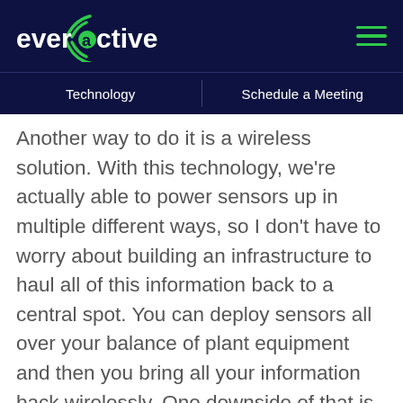everactive
Technology | Schedule a Meeting
Another way to do it is a wireless solution. With this technology, we're actually able to power sensors up in multiple different ways, so I don't have to worry about building an infrastructure to haul all of this information back to a central spot. You can deploy sensors all over your balance of plant equipment and then you bring all your information back wirelessly. One downside of that is if you're deploying a whole lot of sensors and you can have a lot of batteries to maintain, because these things typically are